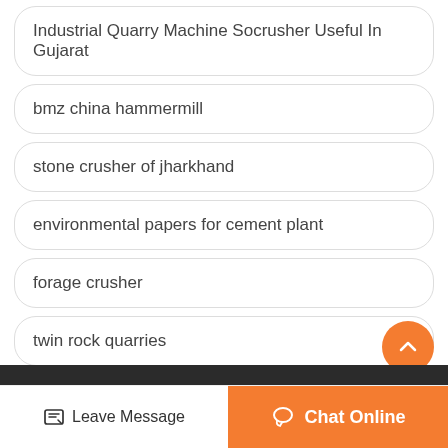Industrial Quarry Machine Socrusher Useful In Gujarat
bmz china hammermill
stone crusher of jharkhand
environmental papers for cement plant
forage crusher
twin rock quarries
Leave Message  Chat Online